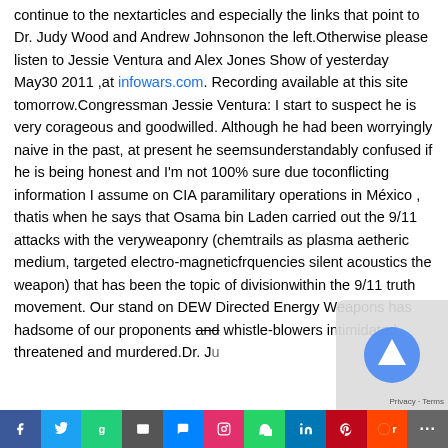continue to the nextarticles and especially the links that point to Dr. Judy Wood and Andrew Johnsonon the left.Otherwise please listen to Jessie Ventura and Alex Jones Show of yesterday May30 2011 ,at infowars.com. Recording available at this site tomorrow.Congressman Jessie Ventura: I start to suspect he is very corageous and goodwilled. Although he had been worryingly naive in the past, at present he seemsunderstandably confused if he is being honest and I'm not 100% sure due toconflicting information I assume on CIA paramilitary operations in México , thatis when he says that Osama bin Laden carried out the 9/11 attacks with the veryweaponry (chemtrails as plasma aetheric medium, targeted electro-magneticfrquencies silent acoustics the weapon) that has been the topic of divisionwithin the 9/11 truth movement. Our stand on DEW Directed Energy Weapons has hadsome of our proponents and whistle-blowers intimidated, threatened and murdered.Dr. Judy Wood mind one and you are heldest art oi